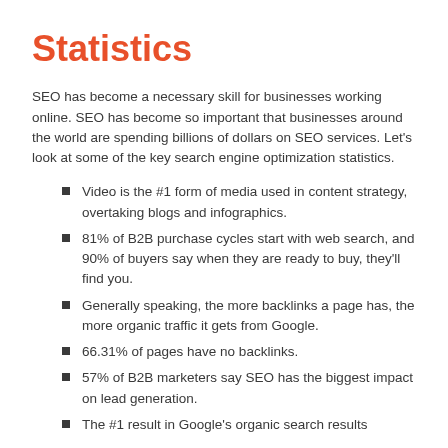Statistics
SEO has become a necessary skill for businesses working online. SEO has become so important that businesses around the world are spending billions of dollars on SEO services. Let’s look at some of the key search engine optimization statistics.
Video is the #1 form of media used in content strategy, overtaking blogs and infographics.
81% of B2B purchase cycles start with web search, and 90% of buyers say when they are ready to buy, they’ll find you.
Generally speaking, the more backlinks a page has, the more organic traffic it gets from Google.
66.31% of pages have no backlinks.
57% of B2B marketers say SEO has the biggest impact on lead generation.
The #1 result in Google’s organic search results